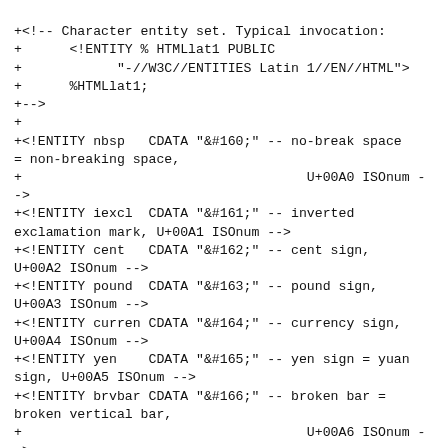+<!-- Character entity set. Typical invocation:
+      <!ENTITY % HTMLlat1 PUBLIC
+            "-//W3C//ENTITIES Latin 1//EN//HTML">
+      %HTMLlat1;
+-->
+
+<!ENTITY nbsp   CDATA "&#160;" -- no-break space = non-breaking space,
+                                    U+00A0 ISOnum -
->
+<!ENTITY iexcl  CDATA "&#161;" -- inverted exclamation mark, U+00A1 ISOnum -->
+<!ENTITY cent   CDATA "&#162;" -- cent sign, U+00A2 ISOnum -->
+<!ENTITY pound  CDATA "&#163;" -- pound sign, U+00A3 ISOnum -->
+<!ENTITY curren CDATA "&#164;" -- currency sign, U+00A4 ISOnum -->
+<!ENTITY yen    CDATA "&#165;" -- yen sign = yuan sign, U+00A5 ISOnum -->
+<!ENTITY brvbar CDATA "&#166;" -- broken bar = broken vertical bar,
+                                    U+00A6 ISOnum -
->
+<!ENTITY sect   CDATA "&#167;" -- section sign, U+00A7 ISOnum -->
+<!ENTITY uml    CDATA "&#168;" -- diaeresis = spacing diaeresis,
+                                    U+00A8 ISOdia -